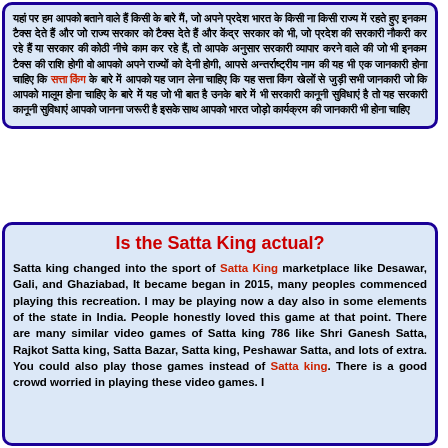Hindi text paragraph discussing Satta King with red highlighted text 'satta king' in the middle.
Is the Satta King actual?
Satta king changed into the sport of Satta King marketplace like Desawar, Gali, and Ghaziabad, It became began in 2015, many peoples commenced playing this recreation. I may be playing now a day also in some elements of the state in India. People honestly loved this game at that point. There are many similar video games of Satta king 786 like Shri Ganesh Satta, Rajkot Satta king, Satta Bazar, Satta king, Peshawar Satta, and lots of extra. You could also play those games instead of Satta king. There is a good crowd worried in playing these video games. I